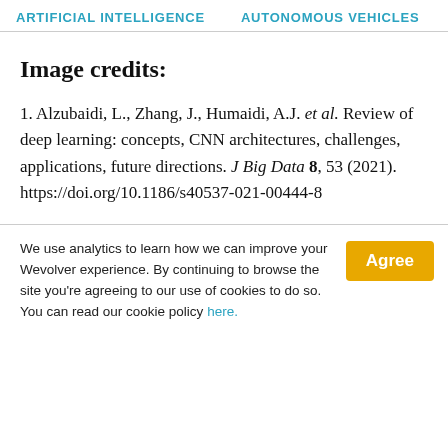ARTIFICIAL INTELLIGENCE   AUTONOMOUS VEHICLES   RO…
Image credits:
1. Alzubaidi, L., Zhang, J., Humaidi, A.J. et al. Review of deep learning: concepts, CNN architectures, challenges, applications, future directions. J Big Data 8, 53 (2021). https://doi.org/10.1186/s40537-021-00444-8
We use analytics to learn how we can improve your Wevolver experience. By continuing to browse the site you're agreeing to our use of cookies to do so. You can read our cookie policy here.